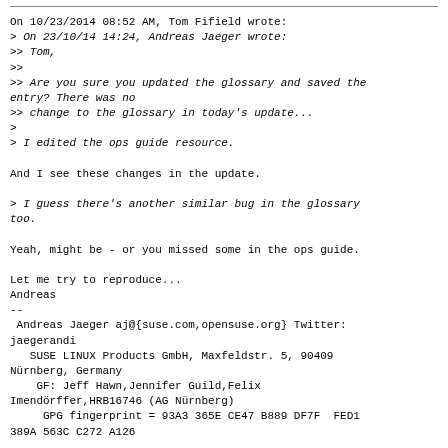On 10/23/2014 08:52 AM, Tom Fifield wrote:
> On 23/10/14 14:24, Andreas Jaeger wrote:
>> Tom,
>>
>> Are you sure you updated the glossary and saved the entry? There was no
>> change to the glossary in today's update...
>
> I edited the ops guide resource.

And I see these changes in the update.

> I guess there's another similar bug in the glossary too.

Yeah, might be - or you missed some in the ops guide.

Let me try to reproduce...
Andreas
--
 Andreas Jaeger aj@{suse.com,opensuse.org} Twitter: jaegerandi
   SUSE LINUX Products GmbH, Maxfeldstr. 5, 90409 Nürnberg, Germany
    GF: Jeff Hawn,Jennifer Guild,Felix Imendörffer,HRB16746 (AG Nürnberg)
       GPG fingerprint = 93A3 365E CE47 B889 DF7F  FED1 389A 563C C272 A126